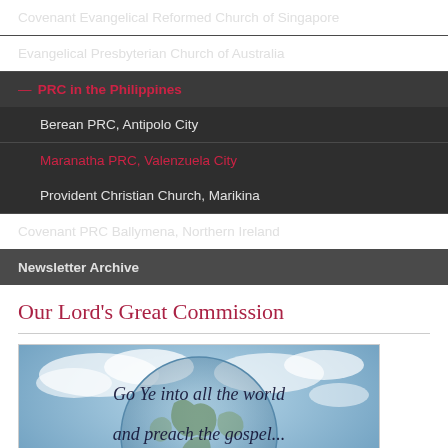Covenant Evangelical Reformed Church of Singapore
Evangelical Presbyterian Church of Australia
PRC in the Philippines
Berean PRC, Antipolo City
Maranatha PRC, Valenzuela City
Provident Christian Church, Marikina
Covenant PRC Ballymena, Northern Ireland
Newsletter Archive
Our Lord's Great Commission
[Figure (photo): An image with a globe and sky/clouds background featuring the scripture text in italic script: 'Go Ye into all the world and preach the gospel... Mark 16:15']